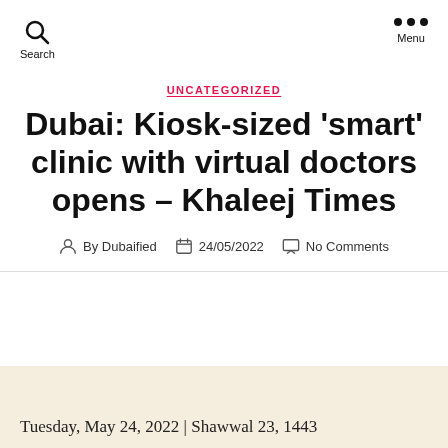Search   Menu
UNCATEGORIZED
Dubai: Kiosk-sized 'smart' clinic with virtual doctors opens – Khaleej Times
By Dubaified   24/05/2022   No Comments
Tuesday, May 24, 2022 | Shawwal 23, 1443